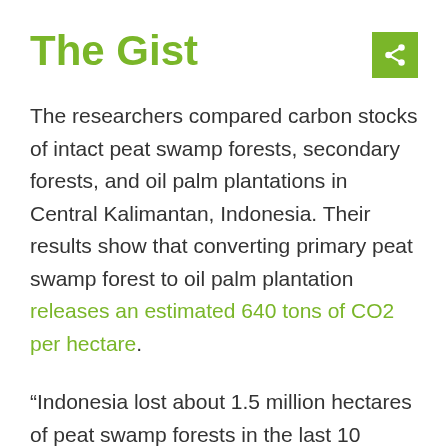The Gist
The researchers compared carbon stocks of intact peat swamp forests, secondary forests, and oil palm plantations in Central Kalimantan, Indonesia. Their results show that converting primary peat swamp forest to oil palm plantation releases an estimated 640 tons of CO2 per hectare.
“Indonesia lost about 1.5 million hectares of peat swamp forests in the last 10 years, which means that every year peatland conversion releases 96 million tons of CO2 into the